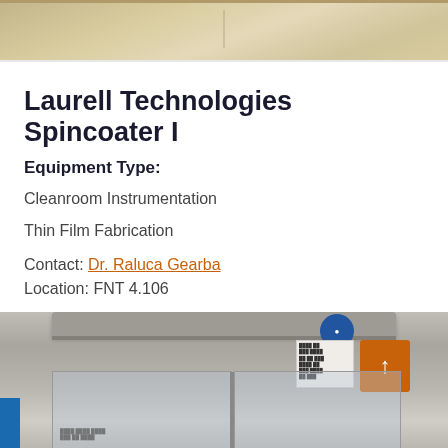[Figure (photo): Top portion of a laboratory spincoater equipment photo, beige/tan cabinet visible]
Laurell Technologies Spincoater I
Equipment Type:
Cleanroom Instrumentation
Thin Film Fabrication
Contact: Dr. Raluca Gearba
Location: FNT 4.106
VIEW DETAILS ▶
[Figure (photo): Bottom portion showing laboratory fume hood or cleanroom cabinet with gray exterior, glass panels, blue label, and orange tag with up arrow]